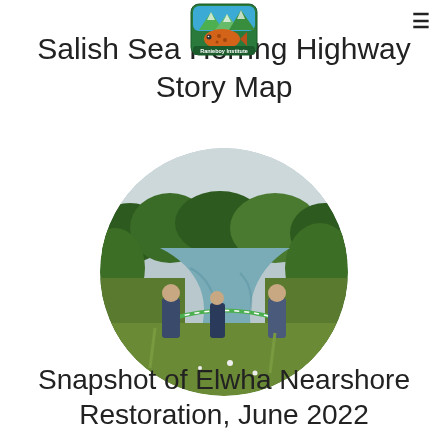[Figure (logo): Ranier Institute logo — colorful emblem with stylized fish and mountains in green/blue/orange, with text 'Ranieboy Institute']
Salish Sea Herring Highway Story Map
[Figure (photo): Circular cropped outdoor photograph showing people standing in a marshy waterway/creek area with green vegetation, holding a green net across the water. Overcast sky, dense shrubs in background.]
Snapshot of Elwha Nearshore Restoration, June 2022